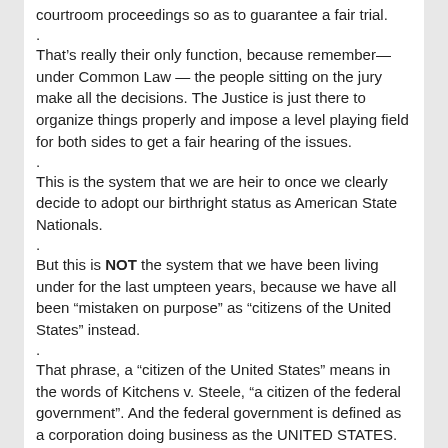courtroom proceedings so as to guarantee a fair trial.
.
That's really their only function, because remember—under Common Law — the people sitting on the jury make all the decisions. The Justice is just there to organize things properly and impose a level playing field for both sides to get a fair hearing of the issues.
.
This is the system that we are heir to once we clearly decide to adopt our birthright status as American State Nationals.
.
But this is NOT the system that we have been living under for the last umpteen years, because we have all been “mistaken on purpose” as “citizens of the United States” instead.
.
That phrase, a “citizen of the United States” means in the words of Kitchens v. Steele, “a citizen of the federal government”. And the federal government is defined as a corporation doing business as the UNITED STATES.